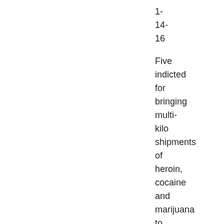1-
14-
16
Five indicted for bringing multi-kilo shipments of heroin, cocaine and marijuana to Toledo area from California and Mexico, US Attorney